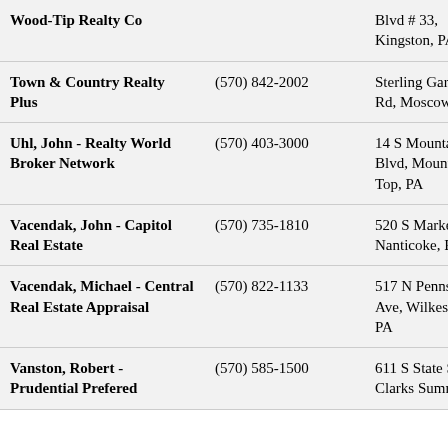| Name | Phone | Address |
| --- | --- | --- |
| Wood-Tip Realty Co |  | Blvd # 33, Kingston, PA |
| Town & Country Realty Plus | (570) 842-2002 | Sterling Gardens Rd, Moscow, PA |
| Uhl, John - Realty World Broker Network | (570) 403-3000 | 14 S Mountain Blvd, Mountain Top, PA |
| Vacendak, John - Capitol Real Estate | (570) 735-1810 | 520 S Market St, Nanticoke, PA |
| Vacendak, Michael - Central Real Estate Appraisal | (570) 822-1133 | 517 N Pennsylvania Ave, Wilkes Barre, PA |
| Vanston, Robert - Prudential Prefered | (570) 585-1500 | 611 S State St, Clarks Summit, PA |